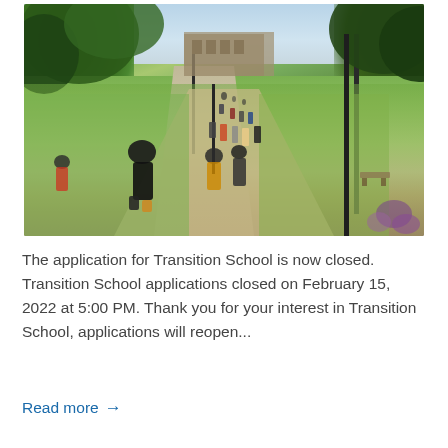[Figure (photo): Outdoor campus scene showing students walking along a central pathway surrounded by trees and green lawns, with a large academic building visible in the background. Sunny day with trees overhanging from the top.]
The application for Transition School is now closed. Transition School applications closed on February 15, 2022 at 5:00 PM. Thank you for your interest in Transition School, applications will reopen...
Read more →